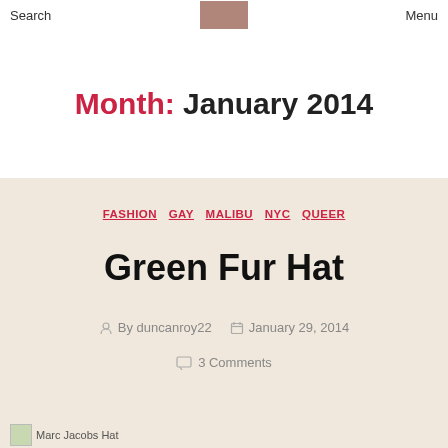Search   Menu
Month: January 2014
FASHION  GAY  MALIBU  NYC  QUEER
Green Fur Hat
By duncanroy22   January 29, 2014
3 Comments
[Figure (photo): Marc Jacobs Hat image placeholder at bottom left]